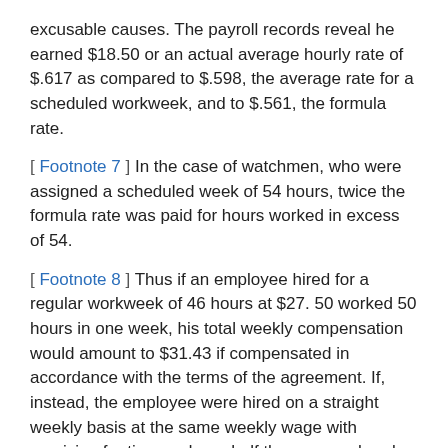excusable causes. The payroll records reveal he earned $18.50 or an actual average hourly rate of $.617 as compared to $.598, the average rate for a scheduled workweek, and to $.561, the formula rate.
[ Footnote 7 ] In the case of watchmen, who were assigned a scheduled week of 54 hours, twice the formula rate was paid for hours worked in excess of 54.
[ Footnote 8 ] Thus if an employee hired for a regular workweek of 46 hours at $27. 50 worked 50 hours in one week, his total weekly compensation would amount to $31.43 if compensated in accordance with the terms of the agreement. If, instead, the employee were hired on a straight weekly basis at the same weekly wage with provision for time and one-half the average hourly rate, for hours worked in excess of 46, he would receive $31.09 as total weekly compensation for 50 hours of work. If a watchman,